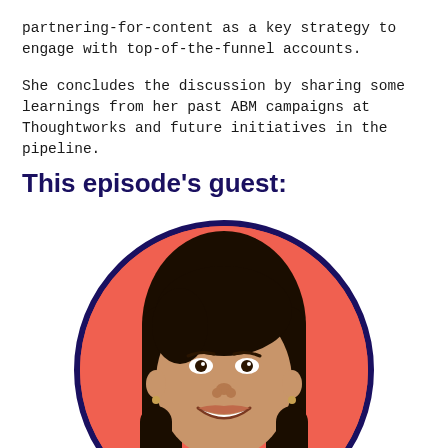partnering-for-content as a key strategy to engage with top-of-the-funnel accounts.
She concludes the discussion by sharing some learnings from her past ABM campaigns at Thoughtworks and future initiatives in the pipeline.
This episode's guest:
[Figure (photo): Circular portrait photo of a woman with long dark hair, smiling, against a coral/salmon red background, with a dark navy border around the circle.]